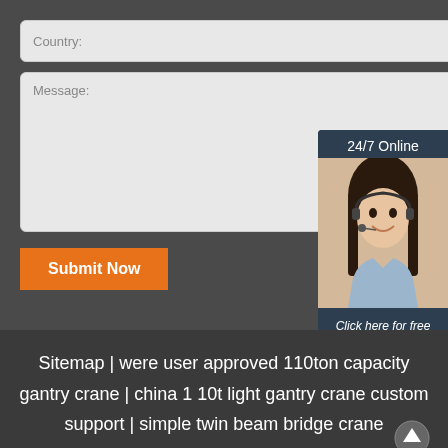Country:
Message:
Submit Now
[Figure (illustration): 24/7 Online chat widget with a female customer service representative wearing a headset. Dark navy background with text 'Click here for free chat!' and an orange QUOTATION button.]
Sitemap | were user approved 110ton capacity gantry crane | china 1 10t light gantry crane custom support | simple twin beam bridge crane